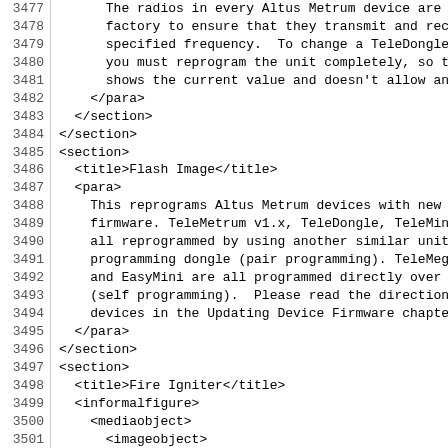Source code listing lines 3477-3509 showing XML markup for an Altus Metrum device documentation file, covering sections on radio frequency, Flash Image, and Fire Igniter.